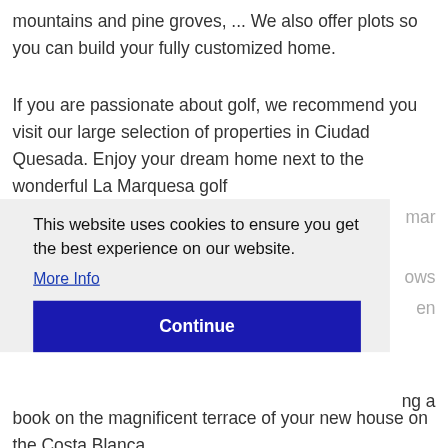mountains and pine groves, ... We also offer plots so you can build your fully customized home.
If you are passionate about golf, we recommend you visit our large selection of properties in Ciudad Quesada. Enjoy your dream home next to the wonderful La Marquesa golf
mar
ows
en
[Figure (screenshot): Cookie consent banner with text 'This website uses cookies to ensure you get the best experience on our website.' with a 'More Info' link and a dark blue 'Continue' button]
ng a
book on the magnificent terrace of your new house on the Costa Blanca.